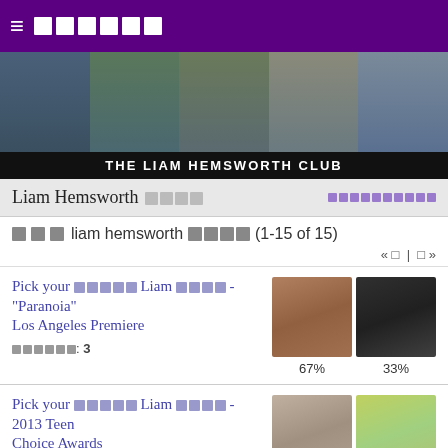≡ ██████
[Figure (photo): Banner photo collage of Liam Hemsworth in various poses and settings]
THE LIAM HEMSWORTH CLUB
Liam Hemsworth ████
███ liam hemsworth ████ (1-15 of 15)
« □ | □ »
Pick your ████ Liam ████ - "Paranoia" Los Angeles Premiere
██████: 3
[Figure (photo): Two photos of Liam Hemsworth at Paranoia LA Premiere showing 67% and 33%]
Pick your ████ Liam ████ - 2013 Teen Choice Awards
██████: 5
[Figure (photo): Two photos of Liam Hemsworth at 2013 Teen Choice Awards showing 67% and 33%]
Are Liam and Miley meant to be?